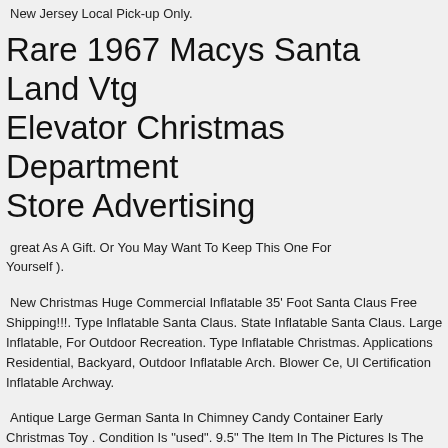New Jersey Local Pick-up Only.
Rare 1967 Macys Santa Land Vtg Elevator Christmas Department Store Advertising
great As A Gift. Or You May Want To Keep This One For Yourself ).
New Christmas Huge Commercial Inflatable 35' Foot Santa Claus Free Shipping!!!. Type Inflatable Santa Claus. State Inflatable Santa Claus. Large Inflatable, For Outdoor Recreation. Type Inflatable Christmas. Applications Residential, Backyard, Outdoor Inflatable Arch. Blower Ce, Ul Certification Inflatable Archway.
Antique Large German Santa In Chimney Candy Container Early Christmas Toy . Condition Is "used". 9.5" The Item In The Pictures Is The One That You Will Receive. Sold As Is. We Try Our Best To Note Any Major Defects. Sold As Is.